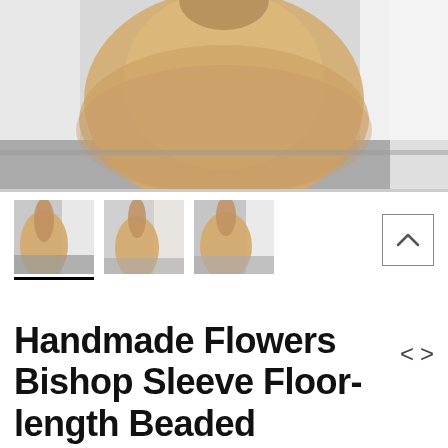[Figure (photo): Main product photo showing champagne/blush colored floor-length gown with voluminous tulle skirt, photographed from behind in a white room with grey floor.]
[Figure (photo): Thumbnail 1: Back view of champagne floor-length gown with white curtain background.]
[Figure (photo): Thumbnail 2: Front view of champagne floor-length gown, model facing camera.]
[Figure (photo): Thumbnail 3: Side view of champagne floor-length gown.]
Handmade Flowers Bishop Sleeve Floor-length Beaded